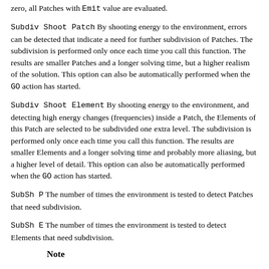zero, all Patches with Emit value are evaluated.
Subdiv Shoot Patch By shooting energy to the environment, errors can be detected that indicate a need for further subdivision of Patches. The subdivision is performed only once each time you call this function. The results are smaller Patches and a longer solving time, but a higher realism of the solution. This option can also be automatically performed when the GO action has started.
Subdiv Shoot Element By shooting energy to the environment, and detecting high energy changes (frequencies) inside a Patch, the Elements of this Patch are selected to be subdivided one extra level. The subdivision is performed only once each time you call this function. The results are smaller Elements and a longer solving time and probably more aliasing, but a higher level of detail. This option can also be automatically performed when the GO action has started.
SubSh P The number of times the environment is tested to detect Patches that need subdivision.
SubSh E The number of times the environment is tested to detect Elements that need subdivision.
Note